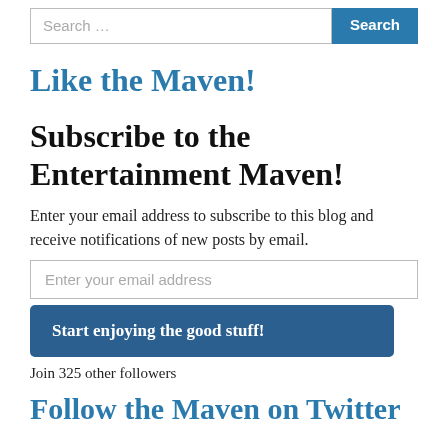Search …
Like the Maven!
Subscribe to the Entertainment Maven!
Enter your email address to subscribe to this blog and receive notifications of new posts by email.
Enter your email address
Start enjoying the good stuff!
Join 325 other followers
Follow the Maven on Twitter